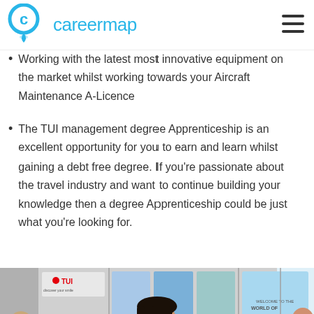careermap
Working with the latest most innovative equipment on the market whilst working towards your Aircraft Maintenance A-Licence
The TUI management degree Apprenticeship is an excellent opportunity for you to earn and learn whilst gaining a debt free degree. If you're passionate about the travel industry and want to continue building your knowledge then a degree Apprenticeship could be just what you're looking for.
[Figure (photo): A TUI travel agent, a woman with dark hair and glasses wearing a navy uniform with a blue neck scarf, smiling at a customer across a desk. Behind her are TUI travel brochures and a display screen showing the TUI logo.]